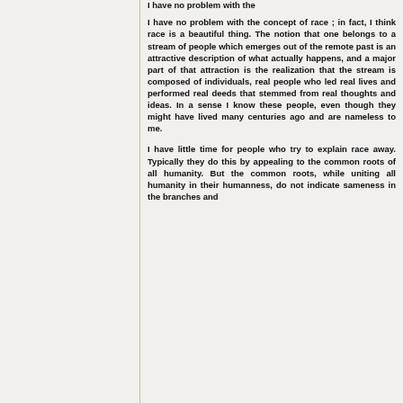I have no problem with the concept of race ; in fact, I think race is a beautiful thing. The notion that one belongs to a stream of people which emerges out of the remote past is an attractive description of what actually happens, and a major part of that attraction is the realization that the stream is composed of individuals, real people who led real lives and performed real deeds that stemmed from real thoughts and ideas. In a sense I know these people, even though they might have lived many centuries ago and are nameless to me.
I have little time for people who try to explain race away. Typically they do this by appealing to the common roots of all humanity. But the common roots, while uniting all humanity in their humanness, do not indicate sameness in the branches and